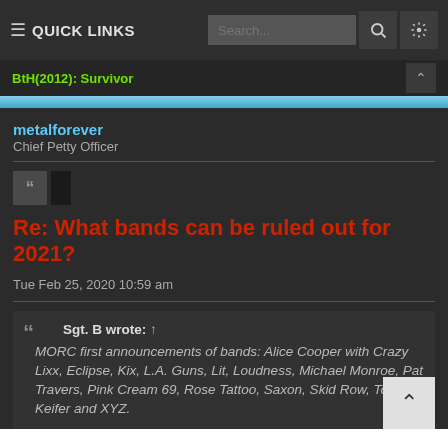≡ QUICK LINKS
BtH(2012): Survivor
metalforever
Chief Petty Officer
Re: What bands can be ruled out for 2021?
Tue Feb 25, 2020 10:59 am
Sgt. B wrote: ↑
MORC first announcements of bands: Alice Cooper with Crazy Lixx, Eclipse, Kix, L.A. Guns, Lit, Loudness, Michael Monroe, Pat Travers, Pink Cream 69, Rose Tattoo, Saxon, Skid Row, Tom Keifer and XYZ.